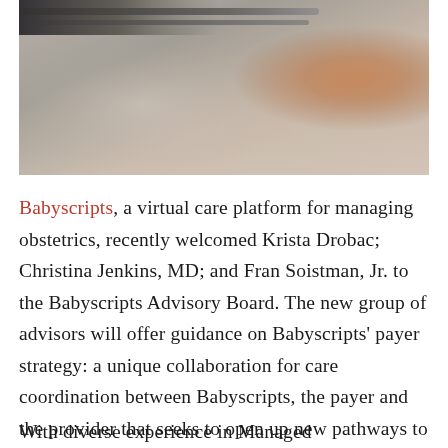[Figure (photo): Close-up photo of medical or writing instruments (pen/pencil) on a surface, blurred background with warm tones and a partial view of a hand.]
Babyscripts, a virtual care platform for managing obstetrics, recently welcomed Krista Drobac; Christina Jenkins, MD; and Fran Soistman, Jr. to the Babyscripts Advisory Board. The new group of advisors will offer guidance on Babyscripts' payer strategy: a unique collaboration for care coordination between Babyscripts, the payer and the provider that seeks to open up new pathways to reimbursement and expand access to digital tools for the Medicaid pregnant population.
With diverse experience in Managed